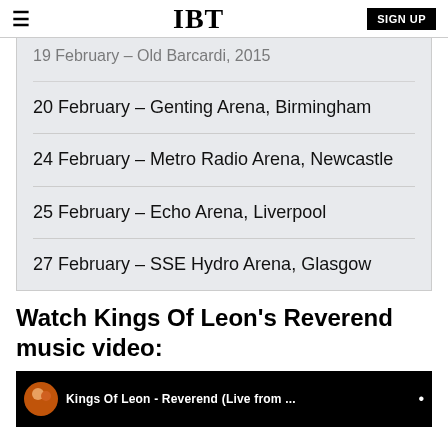≡  IBT  SIGN UP
19 February – Old Barcardi, 2015
20 February – Genting Arena, Birmingham
24 February – Metro Radio Arena, Newcastle
25 February – Echo Arena, Liverpool
27 February – SSE Hydro Arena, Glasgow
Watch Kings Of Leon's Reverend music video:
[Figure (screenshot): Video thumbnail showing Kings Of Leon - Reverend (Live from ...) with a circular icon on the left and white text on dark background]